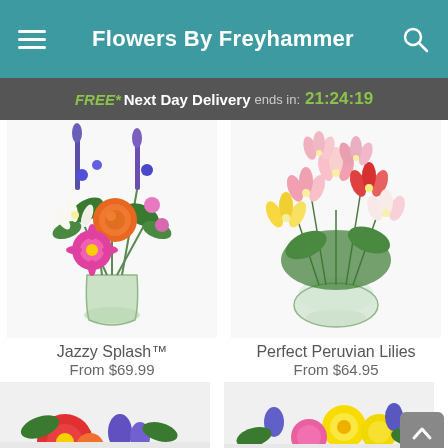Flowers By Freyhammer
FREE* Next Day Delivery ends in: 21:24:19
[Figure (photo): Jazzy Splash flower arrangement in a glass vase with orange roses, pink gerbera, purple flowers, and white lilies]
Jazzy Splash™
From $69.99
[Figure (photo): Perfect Peruvian Lilies flower arrangement in a round glass vase with pink, red, white, and yellow alstroemeria lilies]
Perfect Peruvian Lilies
From $64.95
[Figure (photo): Partial view of a flower arrangement with red gerbera and purple flowers]
[Figure (photo): Partial view of a flower arrangement with yellow and pink flowers]